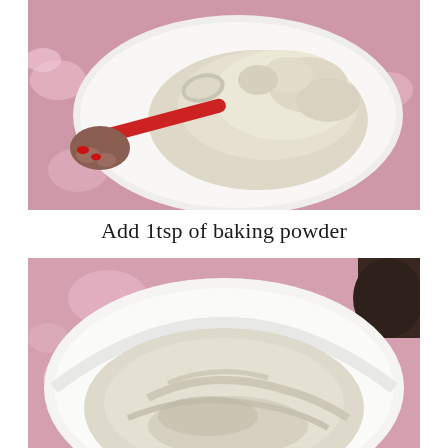[Figure (photo): Overhead view of a white plate with a mound of flour and a red-handled measuring spoon (1 tsp) being held over it by a hand with red nail polish. Pink floral background visible.]
Add 1tsp of baking powder
[Figure (photo): Overhead view of a white bowl containing flour/dry ingredients, with a pink floral tablecloth visible in the background.]